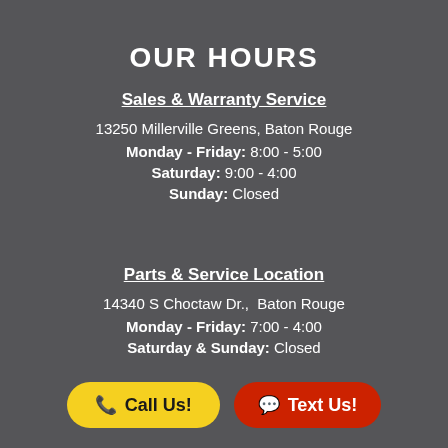OUR HOURS
Sales & Warranty Service
13250 Millerville Greens, Baton Rouge
Monday - Friday: 8:00 - 5:00
Saturday: 9:00 - 4:00
Sunday: Closed
Parts & Service Location
14340 S Choctaw Dr.,  Baton Rouge
Monday - Friday: 7:00 - 4:00
Saturday & Sunday: Closed